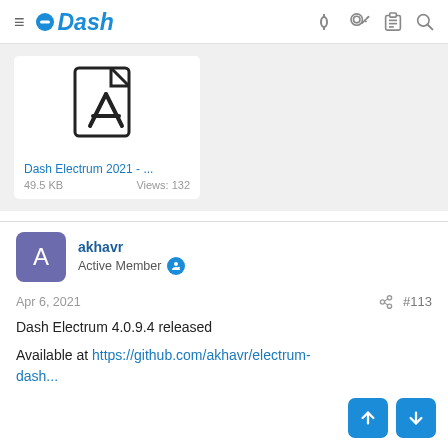Dash
[Figure (screenshot): PDF file attachment card showing a PDF icon, filename 'Dash Electrum 2021 - ...', file size 49.5 KB, and Views: 132]
Dash Electrum 2021 - ...
49.5 KB    Views: 132
akhavr
Active Member
Apr 6, 2021
#113
Dash Electrum 4.0.9.4 released
Available at https://github.com/akhavr/electrum-dash...